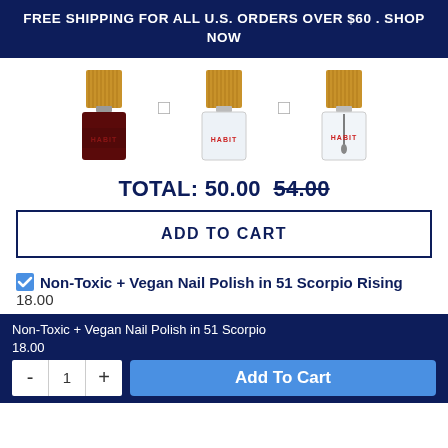FREE SHIPPING FOR ALL U.S. ORDERS OVER $60 . SHOP NOW
[Figure (photo): Three HABIT nail polish bottles with bamboo caps: one dark red/maroon on left, one clear in center, one clear with brush on right, separated by plus icons]
TOTAL: 50.00  54.00
ADD TO CART
Non-Toxic + Vegan Nail Polish in 51 Scorpio Rising  18.00
Non-Toxic + Vegan Nail Polish in 51 Scorpio Rising
18.00
- 1 + Add To Cart